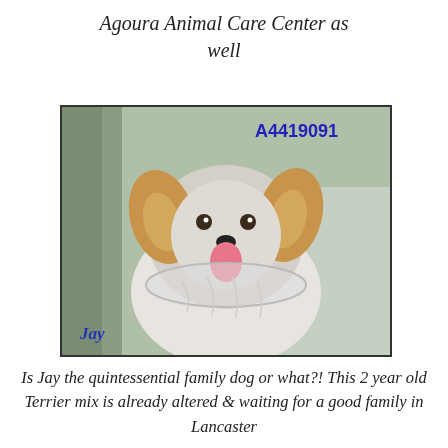Agoura Animal Care Center as well
[Figure (photo): Photo of a fluffy small dog named Jay, a Terrier mix with golden/white fur, tongue out, wearing an e-collar. Text overlay shows 'A4419091' in upper right and 'Jay' in lower left.]
Is Jay the quintessential family dog or what?! This 2 year old Terrier mix is already altered & waiting for a good family in Lancaster